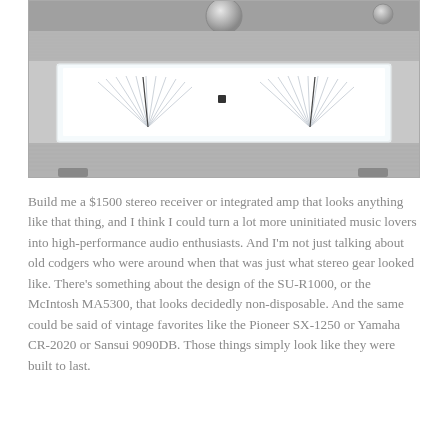[Figure (photo): Close-up photo of a high-end stereo amplifier/receiver front panel, silver brushed aluminum finish with illuminated VU meters and a large volume knob visible at top, showing two symmetrical VU meter displays inside a white-lit display panel.]
Build me a $1500 stereo receiver or integrated amp that looks anything like that thing, and I think I could turn a lot more uninitiated music lovers into high-performance audio enthusiasts. And I'm not just talking about old codgers who were around when that was just what stereo gear looked like. There's something about the design of the SU-R1000, or the McIntosh MA5300, that looks decidedly non-disposable. And the same could be said of vintage favorites like the Pioneer SX-1250 or Yamaha CR-2020 or Sansui 9090DB. Those things simply look like they were built to last.